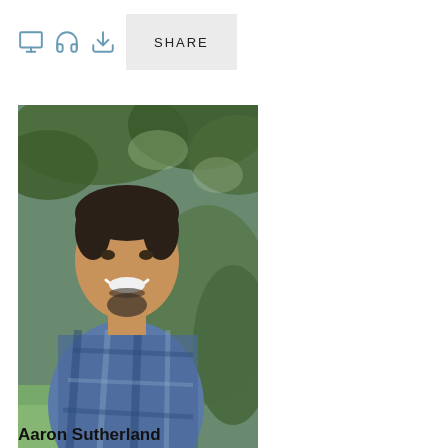[Figure (other): Toolbar with monitor icon, headphones icon, download icon, and a SHARE button]
[Figure (photo): Portrait photo of Aaron Sutherland, a middle-aged man with short dark hair and a goatee, smiling, wearing a blue plaid short-sleeve button-up shirt, standing outdoors in front of green shrubs and trees]
Aaron Sutherland